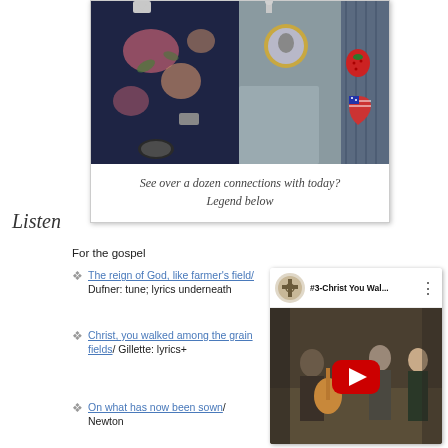[Figure (photo): Close-up photo of clothing with multiple decorative pins and brooches including floral fabric, a cameo brooch, a strawberry pin, an American flag heart pin, and other jewelry pieces]
See over a dozen connections with today?
Legend below
Listen
For the gospel
The reign of God, like farmer's field/ Dufner: tune; lyrics underneath
Christ, you walked among the grain fields/ Gillette: lyrics+
On what has now been sown/ Newton
[Figure (screenshot): YouTube video thumbnail showing #3-Christ You Wal... with a Celtic cross icon, people playing guitar in a church setting, and a red YouTube play button]